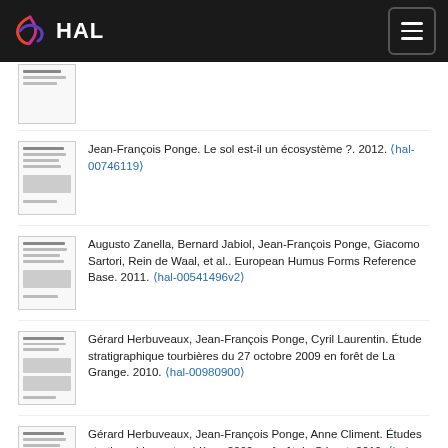HAL
Jean-François Ponge. Le sol est-il un écosystème ?. 2012. ⟨hal-00746119⟩
Augusto Zanella, Bernard Jabiol, Jean-François Ponge, Giacomo Sartori, Rein de Waal, et al.. European Humus Forms Reference Base. 2011. ⟨hal-00541496v2⟩
Gérard Herbuveaux, Jean-François Ponge, Cyril Laurentin. Étude stratigraphique tourbières du 27 octobre 2009 en forêt de La Grange. 2010. ⟨hal-00980900⟩
Gérard Herbuveaux, Jean-François Ponge, Anne Climent. Études stratigraphiques tourbières 2009 en forêt de Gépart. 2010. ⟨hal-00974884⟩